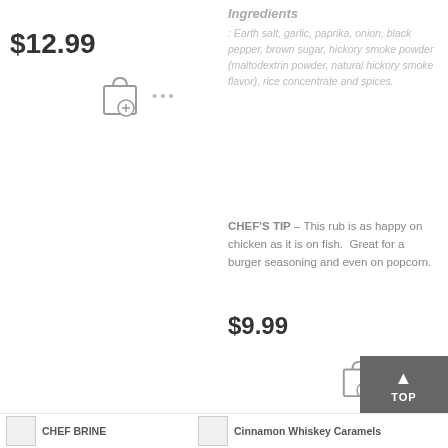$12.99
[Figure (illustration): Shopping bag add icon (left)]
...
Ingredients
: Earth salt, garlic, paprika, onion, black pepper, brown sugar, hickory smoke powder (maltodextrin powder, natural hickory smoke flavor), rice concentrate and spices.
CHEF'S TIP – This rub is as happy on chicken as it is on fish. Great for a burger seasoning and even on popcorn.
$9.99
[Figure (illustration): Shopping bag add icon (right)]
...
[Figure (illustration): TOP scroll-to-top button]
CHEF BRINE
Cinnamon Whiskey Caramels